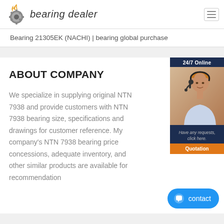bearing dealer
Bearing 21305EK (NACHI) | bearing global purchase
ABOUT COMPANY
We specialize in supplying original NTN 7938 and provide customers with NTN 7938 bearing size, specifications and drawings for customer reference. My company's NTN 7938 bearing price concessions, adequate inventory, and other similar products are available for recommendation
[Figure (photo): 24/7 Online customer service widget with photo of woman with headset, 'Have any requests, click here.' text and Quotation button]
contact